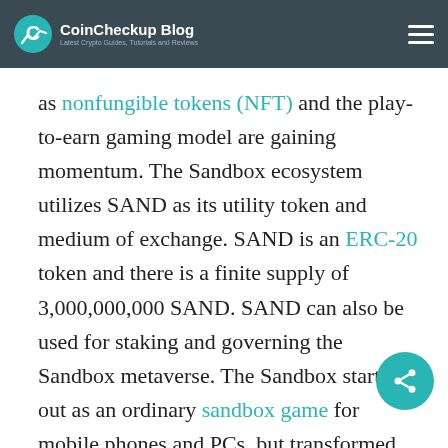CoinCheckup Blog — Latest Crypto Guides, Tutorials and Reviews
as nonfungible tokens (NFT) and the play-to-earn gaming model are gaining momentum. The Sandbox ecosystem utilizes SAND as its utility token and medium of exchange. SAND is an ERC-20 token and there is a finite supply of 3,000,000,000 SAND. SAND can also be used for staking and governing the Sandbox metaverse. The Sandbox started out as an ordinary sandbox game for mobile phones and PCs, but transformed into a